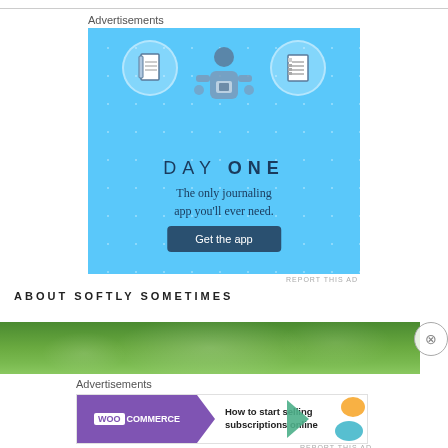Advertisements
[Figure (illustration): Day One journaling app advertisement on a light blue background with sparkle dots, showing three icons (notebook, person with phone, checklist) and text 'DAY ONE - The only journaling app you'll ever need.' with a 'Get the app' button.]
REPORT THIS AD
ABOUT SOFTLY SOMETIMES
[Figure (photo): Green bokeh/nature background photo, partially visible.]
Advertisements
[Figure (illustration): WooCommerce advertisement showing purple WooCommerce logo with green arrow shape and orange shape on right, text 'How to start selling subscriptions online'.]
REPORT THIS AD